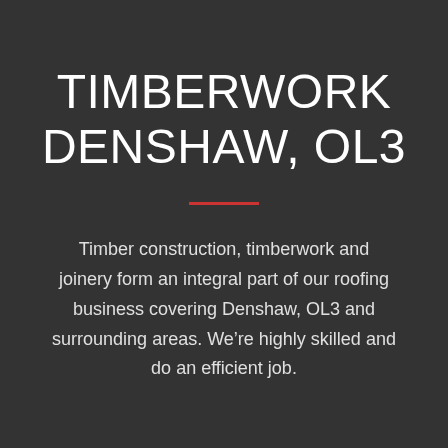TIMBERWORK DENSHAW, OL3
Timber construction, timberwork and joinery form an integral part of our roofing business covering Denshaw, OL3 and surrounding areas. We're highly skilled and do an efficient job.